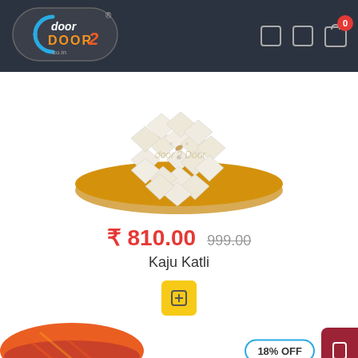[Figure (logo): Door 2 Door co.in logo on dark header with navigation icons and cart badge showing 0]
[Figure (photo): Kaju Katli Indian sweet diamond-shaped pieces arranged on a round plate, with watermark 'door 2 Door']
₹ 810.00  999.00
Kaju Katli
[Figure (other): Yellow add to cart button]
[Figure (photo): Next product image showing orange/red packaging with '18% OFF' badge and dark red scroll button]